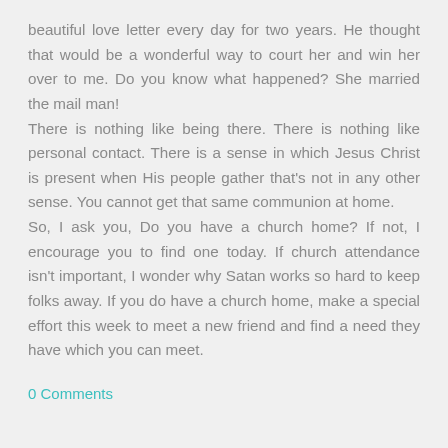beautiful love letter every day for two years. He thought that would be a wonderful way to court her and win her over to me. Do you know what happened? She married the mail man!
There is nothing like being there. There is nothing like personal contact. There is a sense in which Jesus Christ is present when His people gather that's not in any other sense. You cannot get that same communion at home.
So, I ask you, Do you have a church home? If not, I encourage you to find one today. If church attendance isn't important, I wonder why Satan works so hard to keep folks away. If you do have a church home, make a special effort this week to meet a new friend and find a need they have which you can meet.
0 Comments